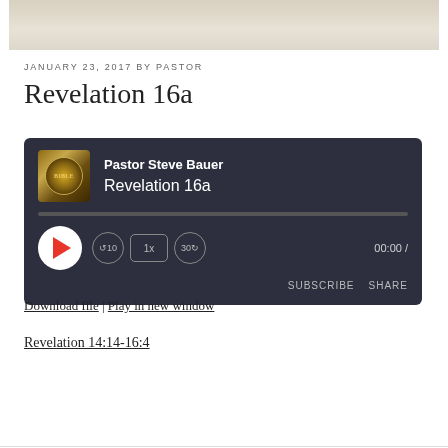[Figure (illustration): Beige/tan banner image at top of page]
JANUARY 23, 2017 BY PASTOR
Revelation 16a
[Figure (screenshot): Audio player widget with dark background showing 'Pastor Steve Bauer' and 'Revelation 16a', play button, progress bar, speed and skip controls, time display 00:00, SUBSCRIBE and SHARE buttons]
Download file | Play in new window
Revelation 14:14-16:4